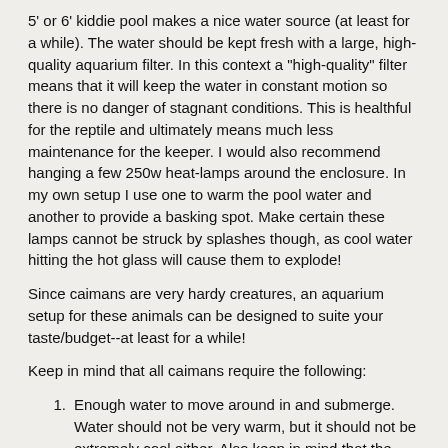5' or 6' kiddie pool makes a nice water source (at least for a while). The water should be kept fresh with a large, high-quality aquarium filter. In this context a "high-quality" filter means that it will keep the water in constant motion so there is no danger of stagnant conditions. This is healthful for the reptile and ultimately means much less maintenance for the keeper. I would also recommend hanging a few 250w heat-lamps around the enclosure. In my own setup I use one to warm the pool water and another to provide a basking spot. Make certain these lamps cannot be struck by splashes though, as cool water hitting the hot glass will cause them to explode!
Since caimans are very hardy creatures, an aquarium setup for these animals can be designed to suite your taste/budget--at least for a while!
Keep in mind that all caimans require the following:
Enough water to move around in and submerge. Water should not be very warm, but it should not be extremely cool either. Also keep in mind that the water must be kept in motion with a filter of some sort to prevent stagnant conditions.
A dry area to escape from the water when (s)he wants. They tend to spend more time in water when young, increasing their time out of the water as they grow.
A heated basking area allowing him/her to regulate body